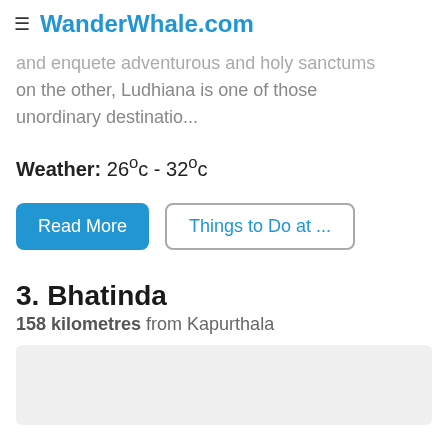≡ WanderWhale.com
and enquete adventurous and holy sanctums on the other, Ludhiana is one of those unordinary destinatio...
Weather: 26°c - 32°c
Read More | Things to Do at ...
3. Bhatinda
158 kilometres from Kapurthala
[Figure (photo): Image placeholder for Bhatinda]